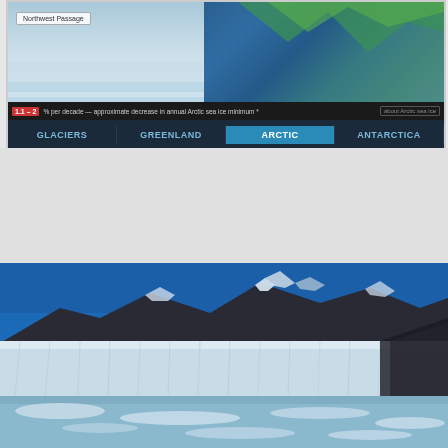[Figure (screenshot): Screenshot of an interactive Arctic sea ice web interface showing a map of the Arctic region with navigation tabs for Glaciers, Greenland, Arctic (active/selected), and Antarctica. An info bar shows red badge with percentage decrease in annual Arctic sea ice minimum, with a button for more information.]
[Figure (photo): Panoramic photograph of an Arctic glacier with a white ice cliff calving face in the foreground, dark rocky mountains with snow patches in the background, bright blue sky, and floating sea ice in the foreground water.]